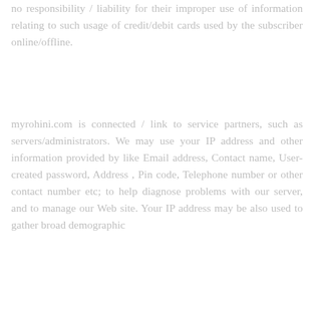no responsibility / liability for their improper use of information relating to such usage of credit/debit cards used by the subscriber online/offline.
myrohini.com is connected / link to service partners, such as servers/administrators. We may use your IP address and other information provided by like Email address, Contact name, User-created password, Address , Pin code, Telephone number or other contact number etc; to help diagnose problems with our server, and to manage our Web site. Your IP address may be also used to gather broad demographic